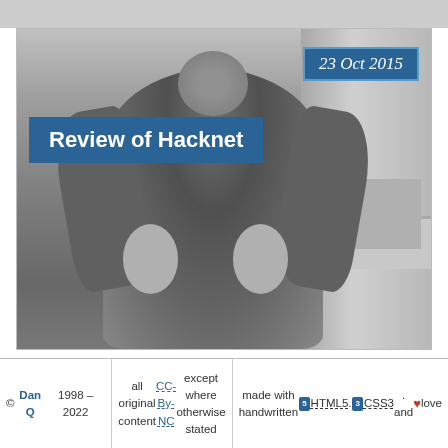[Figure (photo): Black and white blurry photo of a person standing with hands on hips in what appears to be a kitchen or indoor setting. A blue badge in the upper right shows the date '23 Oct 2015'. A blue title banner on the left reads 'Review of Hacknet'.]
© Dan Q 1998 – 2022 | all original content CC-By-NC except where otherwise stated | made with handwritten HTML5, CSS3, and love